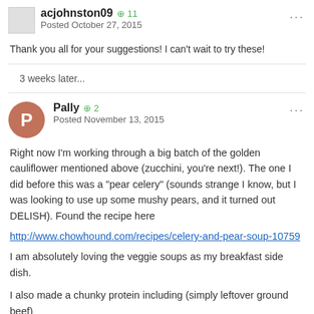acjohnston09  +11  Posted October 27, 2015
Thank you all for your suggestions! I can't wait to try these!
3 weeks later...
Pally  +2  Posted November 13, 2015
Right now I'm working through a big batch of the golden cauliflower mentioned above (zucchini, you're next!). The one I did before this was a "pear celery" (sounds strange I know, but I was looking to use up some mushy pears, and it turned out DELISH). Found the recipe here
http://www.chowhound.com/recipes/celery-and-pear-soup-10759
I am absolutely loving the veggie soups as my breakfast side dish.
I also made a chunky protein including (simply leftover ground beef)